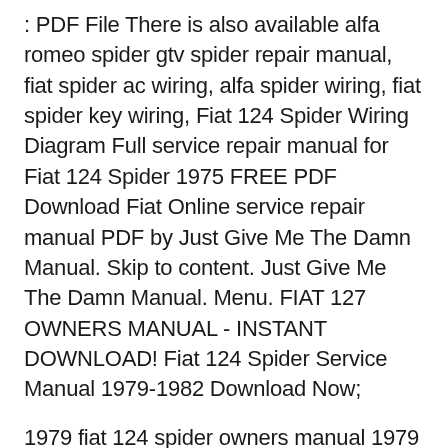: PDF File There is also available alfa romeo spider gtv spider repair manual, fiat spider ac wiring, alfa spider wiring, fiat spider key wiring, Fiat 124 Spider Wiring Diagram Full service repair manual for Fiat 124 Spider 1975 FREE PDF Download Fiat Online service repair manual PDF by Just Give Me The Damn Manual. Skip to content. Just Give Me The Damn Manual. Menu. FIAT 127 OWNERS MANUAL - INSTANT DOWNLOAD! Fiat 124 Spider Service Manual 1979-1982 Download Now;
1979 fiat 124 spider owners manual 1979 Fiat 124 Spider Owners Manual 1979 Fiat 124 Spider Owners Manual *FREE* 1979 fiat 124 spider owners